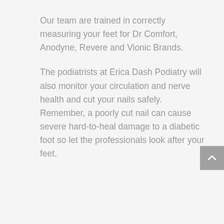Our team are trained in correctly measuring your feet for Dr Comfort, Anodyne, Revere and Vionic Brands.
The podiatrists at Erica Dash Podiatry will also monitor your circulation and nerve health and cut your nails safely. Remember, a poorly cut nail can cause severe hard-to-heal damage to a diabetic foot so let the professionals look after your feet.